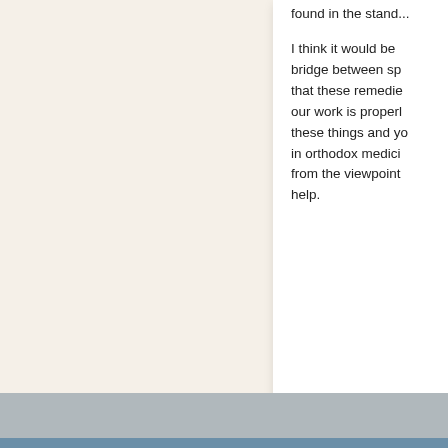found in the stand...
I think it would be ... bridge between sp... that these remedie... our work is properl... these things and yo... in orthodox medici... from the viewpoint... help.